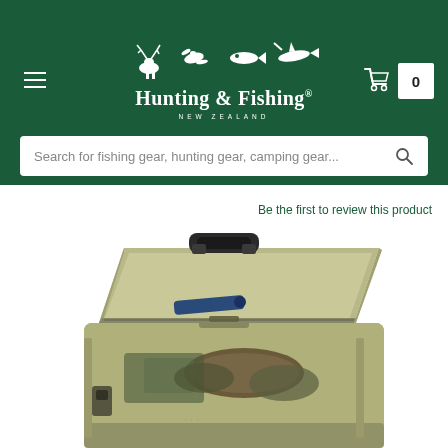[Figure (logo): Hunting & Fishing New Zealand logo with animal silhouettes (deer, ducks, fish) above the brand name in white on dark green background]
Search for fishing gear, hunting gear, camping gear...
Be the first to review this product
[Figure (photo): Open olive/tan plastic ammunition field box with black carry handle, lid open, containing hunting gear and accessories including what appears to be a torch/flashlight and camouflage items]